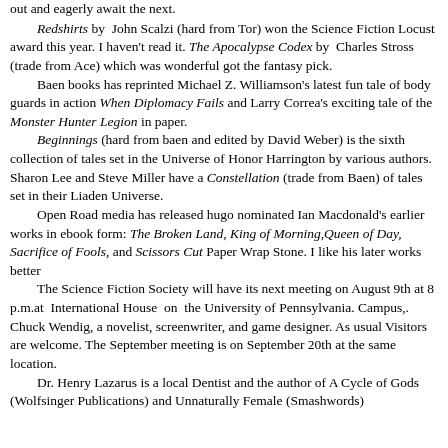out and eagerly await the next.
Redshirts by John Scalzi (hard from Tor) won the Science Fiction Locust award this year. I haven't read it. The Apocalypse Codex by Charles Stross (trade from Ace) which was wonderful got the fantasy pick.
Baen books has reprinted Michael Z. Williamson's latest fun tale of body guards in action When Diplomacy Fails and Larry Correa's exciting tale of the Monster Hunter Legion in paper.
Beginnings (hard from baen and edited by David Weber) is the sixth collection of tales set in the Universe of Honor Harrington by various authors. Sharon Lee and Steve Miller have a Constellation (trade from Baen) of tales set in their Liaden Universe.
Open Road media has released hugo nominated Ian Macdonald's earlier works in ebook form: The Broken Land, King of Morning,Queen of Day, Sacrifice of Fools, and Scissors Cut Paper Wrap Stone. I like his later works better
The Science Fiction Society will have its next meeting on August 9th at 8 p.m.at International House on the University of Pennsylvania. Campus,. Chuck Wendig, a novelist, screenwriter, and game designer. As usual Visitors are welcome. The September meeting is on September 20th at the same location.
Dr. Henry Lazarus is a local Dentist and the author of A Cycle of Gods (Wolfsinger Publications) and Unnaturally Female (Smashwords)